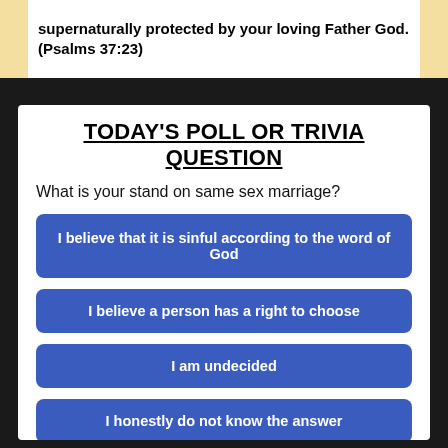supernaturally protected by your loving Father God. (Psalms 37:23)
TODAY'S POLL OR TRIVIA QUESTION
What is your stand on same sex marriage?
I believe that it is sinful according to the word of God
I believe a person has a right to choose
I am undecided
I honestly do not know the answer
YESTERDAY'S QUESTION: